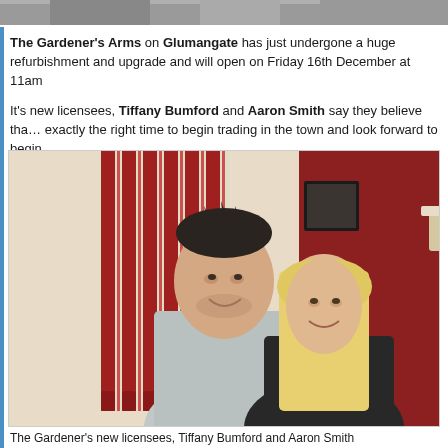[Figure (photo): Partial photo strip visible at the very top of the page, cropped]
The Gardener's Arms on Glumangate has just undergone a huge refurbishment and upgrade and will open on Friday 16th December at 11am
It's new licensees, Tiffany Bumford and Aaron Smith say they believe that this is exactly the right time to begin trading in the town and look forward to begin
[Figure (photo): Photo of two people standing together indoors: a young man with dark spiky hair wearing a grey shirt, and a young woman with long blonde hair wearing a dark knit sweater. Behind them are red vertical blinds on the left and a dark red/burgundy wall on the right with a wall sconce lamp.]
The Gardener's new licensees, Tiffany Bumford and Aaron Smith